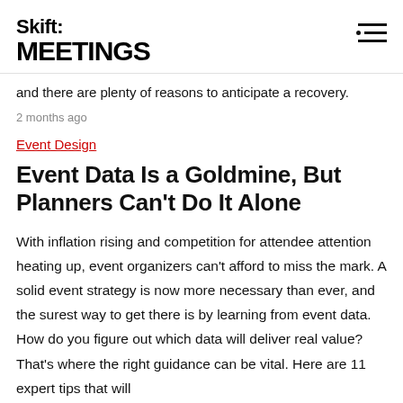Skift MEETINGS
and there are plenty of reasons to anticipate a recovery.
2 months ago
Event Design
Event Data Is a Goldmine, But Planners Can't Do It Alone
With inflation rising and competition for attendee attention heating up, event organizers can't afford to miss the mark. A solid event strategy is now more necessary than ever, and the surest way to get there is by learning from event data. How do you figure out which data will deliver real value? That's where the right guidance can be vital. Here are 11 expert tips that will